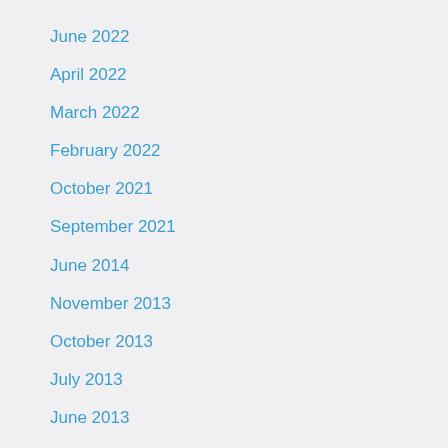June 2022
April 2022
March 2022
February 2022
October 2021
September 2021
June 2014
November 2013
October 2013
July 2013
June 2013
December 2012
September 2012
August 2012
July 2012